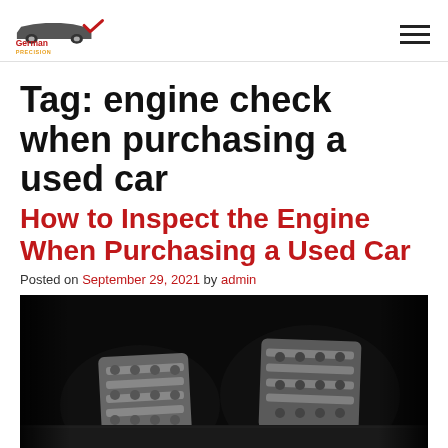German Precision logo and navigation
Tag: engine check when purchasing a used car
How to Inspect the Engine When Purchasing a Used Car
Posted on September 29, 2021 by admin
[Figure (photo): Black and white close-up photo of car pedals (accelerator and brake) on a dark background]